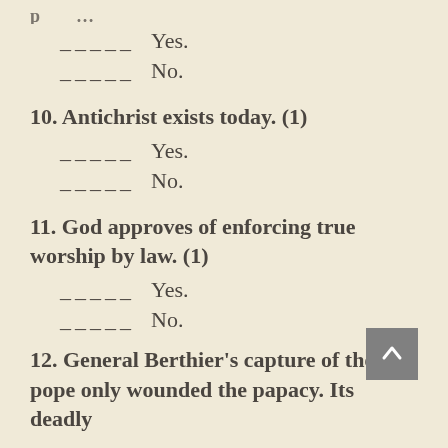[partial question text at top, clipped]
_____ Yes.
_____ No.
10. Antichrist exists today. (1)
_____ Yes.
_____ No.
11. God approves of enforcing true worship by law. (1)
_____ Yes.
_____ No.
12. General Berthier's capture of the pope only wounded the papacy. Its deadly